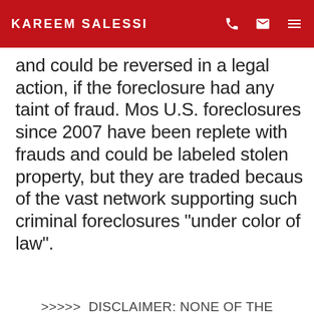KAREEM SALESSI
and could be reversed in a legal action, if the foreclosure had any taint of fraud. Most U.S. foreclosures since 2007 have been replete with frauds and could be labeled stolen property, but they are traded because of the vast network supporting such criminal foreclosures "under color of law".
>>>>> DISCLAIMER: NONE OF THE CONTENTS OF THIS WEBSITE CONSTITUTES "LEGAL ADVICE" <<<<<